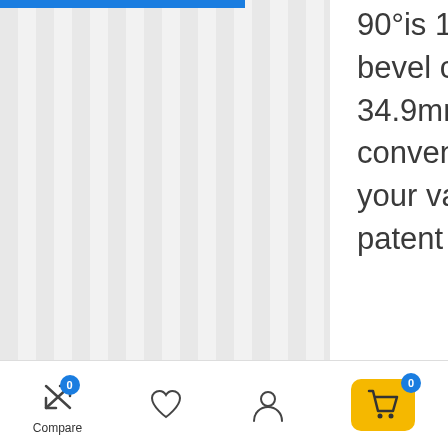90°is 1-11/16 inches (42.9mm) and the bevel capacity at 45°is 1-3/8 inches ( 34.9mm ). It comes with an adapter, it's convenient to connect the dust port to your vacuum cleaner. Auxiliary handle patent design is
[Figure (screenshot): Bottom navigation bar with Compare (badge 0), heart/wishlist icon, user/account icon, and shopping cart button (badge 0) on yellow background]